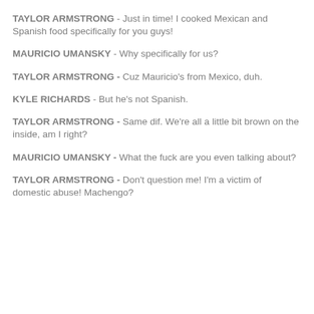TAYLOR ARMSTRONG - Just in time! I cooked Mexican and Spanish food specifically for you guys!
MAURICIO UMANSKY - Why specifically for us?
TAYLOR ARMSTRONG - Cuz Mauricio's from Mexico, duh.
KYLE RICHARDS - But he's not Spanish.
TAYLOR ARMSTRONG - Same dif. We're all a little bit brown on the inside, am I right?
MAURICIO UMANSKY - What the fuck are you even talking about?
TAYLOR ARMSTRONG - Don't question me! I'm a victim of domestic abuse! Machengo?